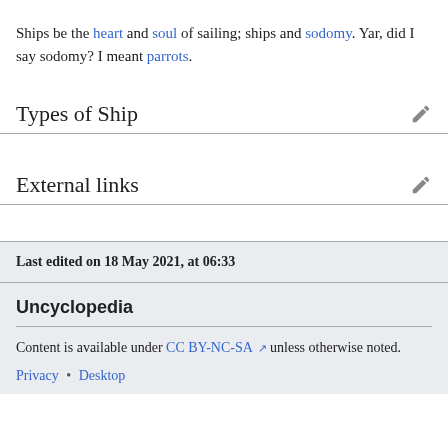Ships be the heart and soul of sailing; ships and sodomy. Yar, did I say sodomy? I meant parrots.
Types of Ship
External links
Last edited on 18 May 2021, at 06:33
Uncyclopedia
Content is available under CC BY-NC-SA unless otherwise noted.
Privacy • Desktop